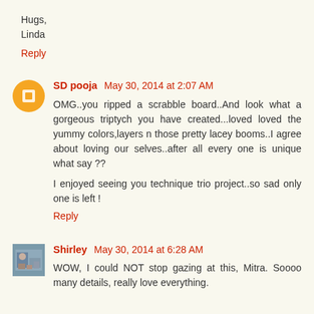Hugs,
Linda
Reply
SD pooja  May 30, 2014 at 2:07 AM
OMG..you ripped a scrabble board..And look what a gorgeous triptych you have created...loved loved the yummy colors,layers n those pretty lacey booms..I agree about loving our selves..after all every one is unique what say ??
I enjoyed seeing you technique trio project..so sad only one is left !
Reply
Shirley  May 30, 2014 at 6:28 AM
WOW, I could NOT stop gazing at this, Mitra. Soooo many details, really love everything.